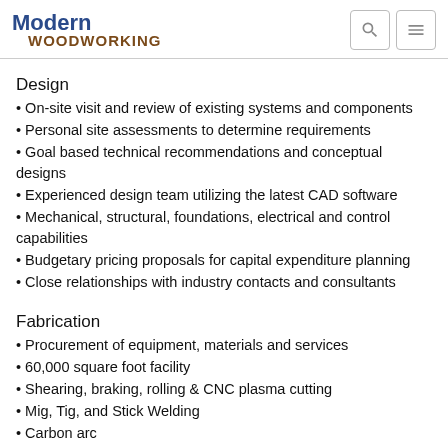Modern Woodworking
Design
On-site visit and review of existing systems and components
Personal site assessments to determine requirements
Goal based technical recommendations and conceptual designs
Experienced design team utilizing the latest CAD software
Mechanical, structural, foundations, electrical and control capabilities
Budgetary pricing proposals for capital expenditure planning
Close relationships with industry contacts and consultants
Fabrication
Procurement of equipment, materials and services
60,000 square foot facility
Shearing, braking, rolling & CNC plasma cutting
Mig, Tig, and Stick Welding
Carbon arc
Large inventory of flat and roll stock